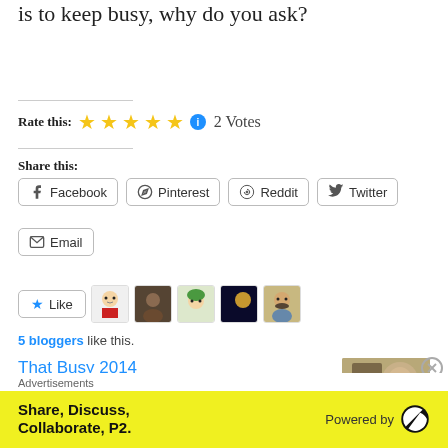is to keep busy, why do you ask?
Rate this: ★★★★★ ℹ 2 Votes
Share this:
Facebook  Pinterest  Reddit  Twitter  Email
Like  5 bloggers like this.
That Busy 2014
At the urging of my girlfriend, I'm listing
Advertisements
Share, Discuss, Collaborate, P2.  Powered by WordPress